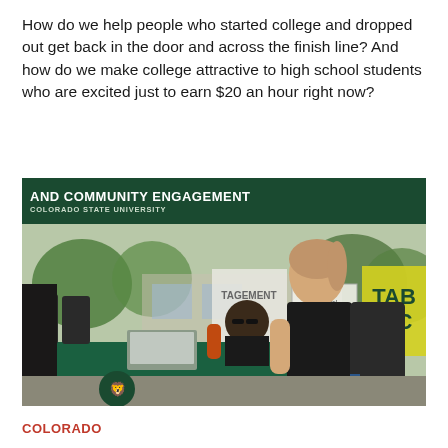How do we help people who started college and dropped out get back in the door and across the finish line? And how do we make college attractive to high school students who are excited just to earn $20 an hour right now?
[Figure (photo): Outdoor community engagement booth for Colorado State University. A student in a black tank top holds a cup while standing at a table with a green tablecloth. A seated person with sunglasses is visible behind the table with a laptop. A banner reads 'AND COMMUNITY ENGAGEMENT / COLORADO STATE UNIVERSITY'. Signs and booths visible in background.]
COLORADO